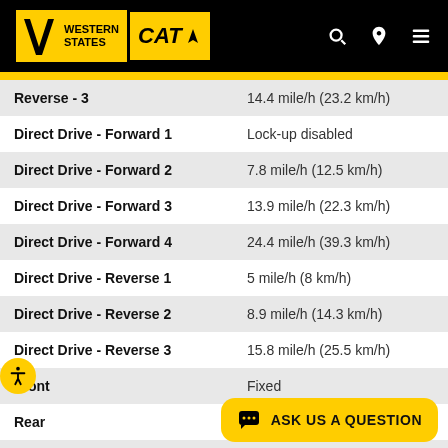Western States CAT
| Specification | Value |
| --- | --- |
| Reverse - 3 | 14.4 mile/h (23.2 km/h) |
| Direct Drive - Forward 1 | Lock-up disabled |
| Direct Drive - Forward 2 | 7.8 mile/h (12.5 km/h) |
| Direct Drive - Forward 3 | 13.9 mile/h (22.3 km/h) |
| Direct Drive - Forward 4 | 24.4 mile/h (39.3 km/h) |
| Direct Drive - Reverse 1 | 5 mile/h (8 km/h) |
| Direct Drive - Reverse 2 | 8.9 mile/h (14.3 km/h) |
| Direct Drive - Reverse 3 | 15.8 mile/h (25.5 km/h) |
| Front | Fixed |
| Rear | Trunnion |
| Oscillation Angle | ±6° |